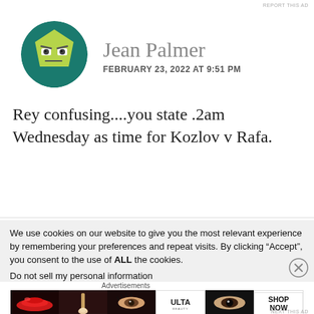REPORT THIS AD
[Figure (illustration): Cartoon avatar of an angry-looking green pentagon face character on a dark teal circular background]
Jean Palmer
FEBRUARY 23, 2022 AT 9:51 PM
Rey confusing....you state .2am Wednesday as time for Kozlov v Rafa.
We use cookies on our website to give you the most relevant experience by remembering your preferences and repeat visits. By clicking “Accept”, you consent to the use of ALL the cookies.
Do not sell my personal information
Advertisements
[Figure (illustration): ULTA Beauty advertisement banner with makeup imagery - lips, brushes, eyes, ULTA logo, and SHOP NOW text]
NEXT THIS AD